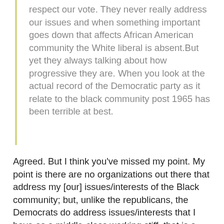respect our vote. They never really address our issues and when something important goes down that affects African American community the White liberal is absent.But yet they always talking about how progressive they are. When you look at the actual record of the Democratic party as it relate to the black community post 1965 has been terrible at best.
Agreed. But I think you've missed my point. My point is there are no organizations out there that address my [our] issues/interests of the Black community; but, unlike the republicans, the Democrats do address issues/interests that I have as a middle-class working stiff, that is a couple of paychecks or a major illness from homelessness.